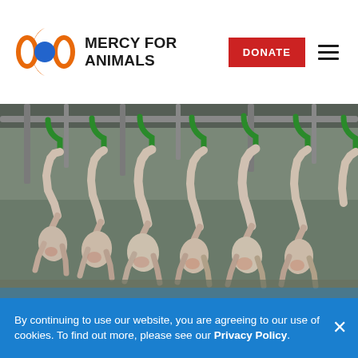MERCY FOR ANIMALS
[Figure (photo): Slaughterhouse chicken processing line — plucked chickens hanging upside down from green metal hooks on a conveyor line in an industrial facility]
By continuing to use our website, you are agreeing to our use of cookies. To find out more, please see our Privacy Policy.